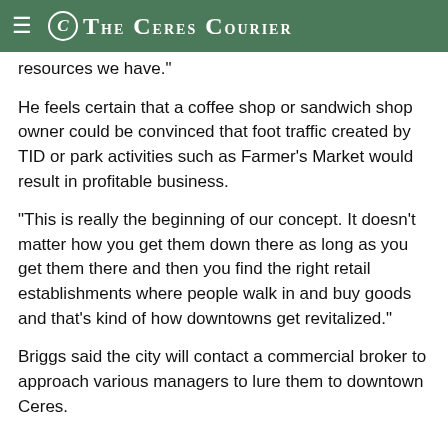The Ceres Courier
resources we have."
He feels certain that a coffee shop or sandwich shop owner could be convinced that foot traffic created by TID or park activities such as Farmer's Market would result in profitable business.
"This is really the beginning of our concept. It doesn't matter how you get them down there as long as you get them there and then you find the right retail establishments where people walk in and buy goods and that's kind of how downtowns get revitalized."
Briggs said the city will contact a commercial broker to approach various managers to lure them to downtown Ceres.